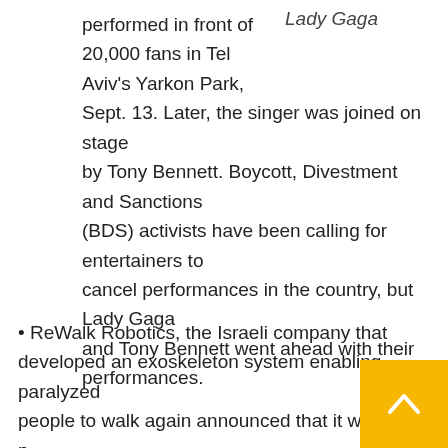Lady Gaga
performed in front of 20,000 fans in Tel Aviv's Yarkon Park, Sept. 13. Later, the singer was joined on stage by Tony Bennett. Boycott, Divestment and Sanctions (BDS) activists have been calling for entertainers to cancel performances in the country, but Lady Gaga and Tony Bennett went ahead with their performances.
• ReWalk Robotics, the Israeli company that developed an exoskeleton system enabling paralyzed people to walk again announced that it will go public on New York's NASDAQ stock exchange and ho